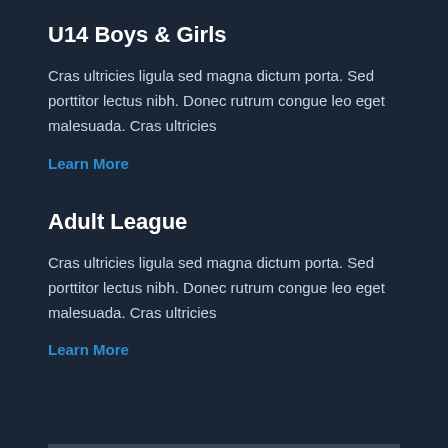U14 Boys & Girls
Cras ultricies ligula sed magna dictum porta. Sed porttitor lectus nibh. Donec rutrum congue leo eget malesuada. Cras ultricies
Learn More
Adult League
Cras ultricies ligula sed magna dictum porta. Sed porttitor lectus nibh. Donec rutrum congue leo eget malesuada. Cras ultricies
Learn More